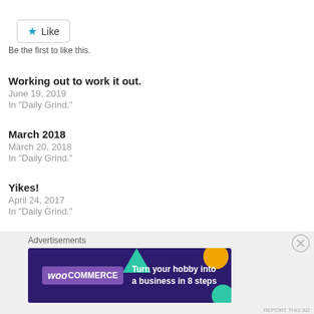[Figure (other): Like button with blue star icon and text 'Like']
Be the first to like this.
Working out to work it out.
June 19, 2019
In "Daily Grind."
March 2018
March 20, 2018
In "Daily Grind."
Yikes!
April 24, 2017
In "Daily Grind."
Advertisements
[Figure (other): WooCommerce advertisement banner: 'Turn your hobby into a business in 8 steps' on dark purple background with geometric shapes]